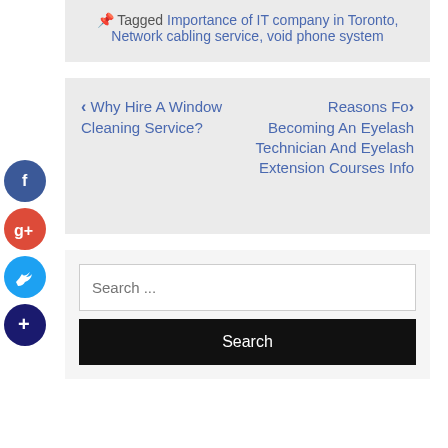Tagged Importance of IT company in Toronto, Network cabling service, void phone system
< Why Hire A Window Cleaning Service?   Reasons For> Becoming An Eyelash Technician And Eyelash Extension Courses Info
[Figure (other): Social sharing sidebar with Facebook, Google+, Twitter, and Add (+) circular icon buttons]
Search ...
Search